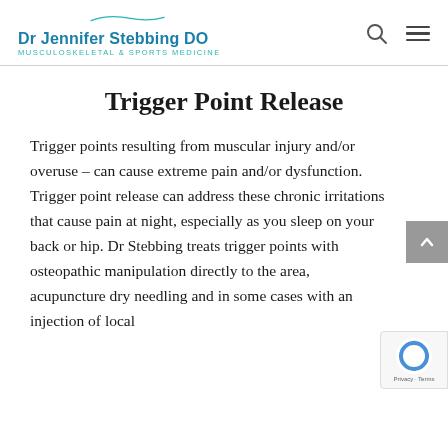Dr Jennifer Stebbing DO — MUSCULOSKELETAL & SPORTS MEDICINE
Trigger Point Release
Trigger points resulting from muscular injury and/or overuse – can cause extreme pain and/or dysfunction. Trigger point release can address these chronic irritations that cause pain at night, especially as you sleep on your back or hip. Dr Stebbing treats trigger points with osteopathic manipulation directly to the area, acupuncture dry needling and in some cases with an injection of local